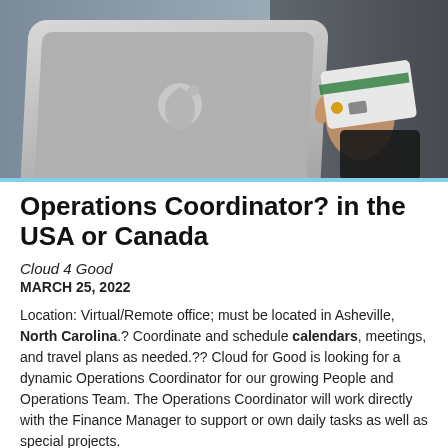[Figure (photo): Person holding a credit card next to an Apple laptop, viewed from the side/back of the laptop]
Operations Coordinator? in the USA or Canada
Cloud 4 Good
MARCH 25, 2022
Location: Virtual/Remote office; must be located in Asheville, North Carolina.? Coordinate and schedule calendars, meetings, and travel plans as needed.?? Cloud for Good is looking for a dynamic Operations Coordinator for our growing People and Operations Team. The Operations Coordinator will work directly with the Finance Manager to support or own daily tasks as well as special projects.